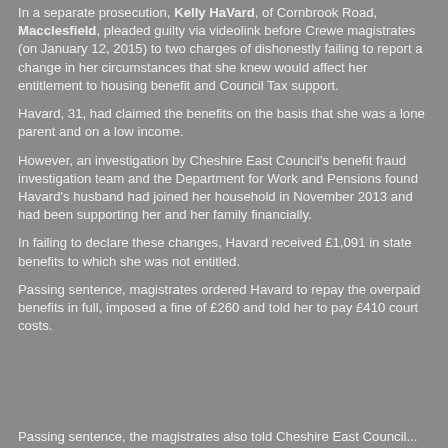In a separate prosecution, Kelly HaVard, of Cornbrook Road, Macclesfield, pleaded guilty via videolink before Crewe magistrates (on January 12, 2015) to two charges of dishonestly failing to report a change in her circumstances that she knew would affect her entitlement to housing benefit and Council Tax support.
Havard, 31, had claimed the benefits on the basis that she was a lone parent and on a low income.
However, an investigation by Cheshire East Council's benefit fraud investigation team and the Department for Work and Pensions found Havard's husband had joined her household in November 2013 and had been supporting her and her family financially.
In failing to declare these changes, Havard received £1,091 in state benefits to which she was not entitled.
Passing sentence, magistrates ordered Havard to repay the overpaid benefits in full, imposed a fine of £260 and told her to pay £410 court costs.
Passing sentence, the magistrates also told Cheshire East Council...